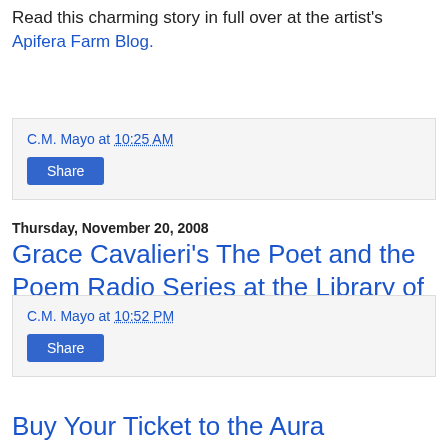Read this charming story in full over at the artist's Apifera Farm Blog.
C.M. Mayo at 10:25 AM
Share
Thursday, November 20, 2008
Grace Cavalieri's The Poet and the Poem Radio Series at the Library of Congress
Read all about it here.
C.M. Mayo at 10:52 PM
Share
Buy Your Ticket to the Aura Estrada...